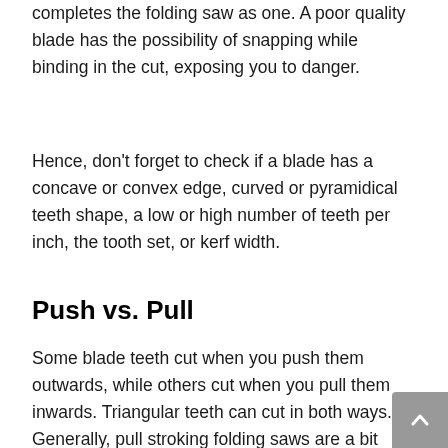completes the folding saw as one. A poor quality blade has the possibility of snapping while binding in the cut, exposing you to danger.
Hence, don't forget to check if a blade has a concave or convex edge, curved or pyramidical teeth shape, a low or high number of teeth per inch, the tooth set, or kerf width.
Push vs. Pull
Some blade teeth cut when you push them outwards, while others cut when you pull them inwards. Triangular teeth can cut in both ways. Generally, pull stroking folding saws are a bit easier to manage than the